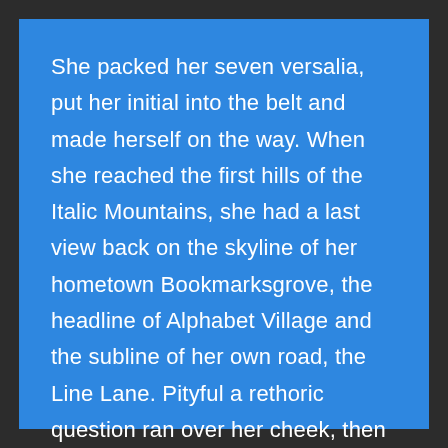She packed her seven versalia, put her initial into the belt and made herself on the way. When she reached the first hills of the Italic Mountains, she had a last view back on the skyline of her hometown Bookmarksgrove, the headline of Alphabet Village and the subline of her own road, the Line Lane. Pityful a rethoric question ran over her cheek, then she continued her way. On her way she met a copy.